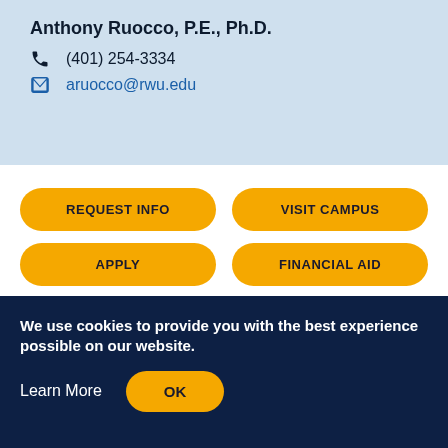CONTACT US
Anthony Ruocco, P.E., Ph.D.
(401) 254-3334
aruocco@rwu.edu
REQUEST INFO
VISIT CAMPUS
APPLY
FINANCIAL AID
We use cookies to provide you with the best experience possible on our website.
Learn More
OK